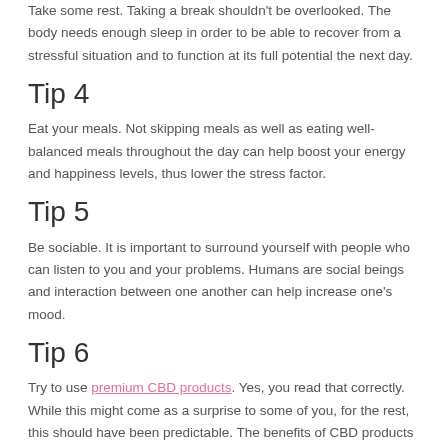Take some rest. Taking a break shouldn't be overlooked. The body needs enough sleep in order to be able to recover from a stressful situation and to function at its full potential the next day.
Tip 4
Eat your meals. Not skipping meals as well as eating well-balanced meals throughout the day can help boost your energy and happiness levels, thus lower the stress factor.
Tip 5
Be sociable. It is important to surround yourself with people who can listen to you and your problems. Humans are social beings and interaction between one another can help increase one's mood.
Tip 6
Try to use premium CBD products. Yes, you read that correctly. While this might come as a surprise to some of you, for the rest, this should have been predictable. The benefits of CBD products on